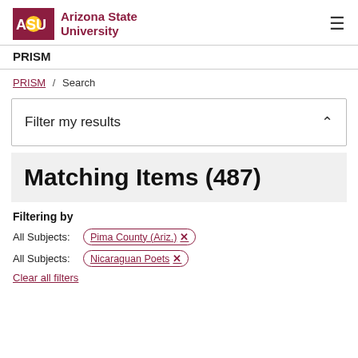ASU Arizona State University | PRISM
PRISM / Search
Filter my results
Matching Items (487)
Filtering by
All Subjects: Pima County (Ariz.) ×
All Subjects: Nicaraguan Poets ×
Clear all filters